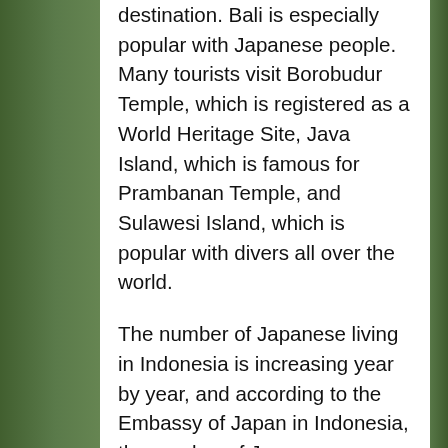destination. Bali is especially popular with Japanese people. Many tourists visit Borobudur Temple, which is registered as a World Heritage Site, Java Island, which is famous for Prambanan Temple, and Sulawesi Island, which is popular with divers all over the world.
The number of Japanese living in Indonesia is increasing year by year, and according to the Embassy of Japan in Indonesia, the number of Japanese residents in Indonesia in 2017 was 19,717, an increase of 405 from 2016.
Indonesia and Japan will continue to develop while strengthening economic and human resources relationships. I hope we will keep